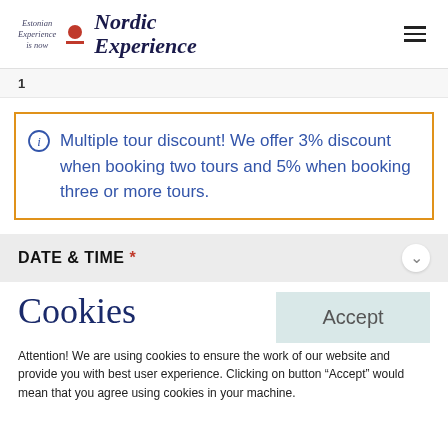Estonian Experience is now | Nordic Experience
1
Multiple tour discount! We offer 3% discount when booking two tours and 5% when booking three or more tours.
DATE & TIME *
Cookies
Accept
Attention! We are using cookies to ensure the work of our website and provide you with best user experience. Clicking on button “Accept” would mean that you agree using cookies in your machine.